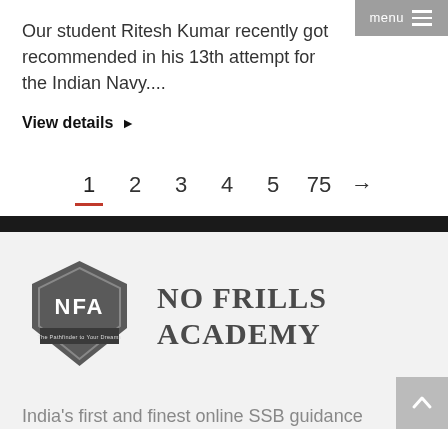Our student Ritesh Kumar recently got recommended in his 13th attempt for the Indian Navy....
View details ▶
1  2  3  4  5  75  →
[Figure (logo): No Frills Academy badge logo with NFA text and tagline 'The Pathfinder to Your Dreams']
NO FRILLS ACADEMY
India's first and finest online SSB guidance